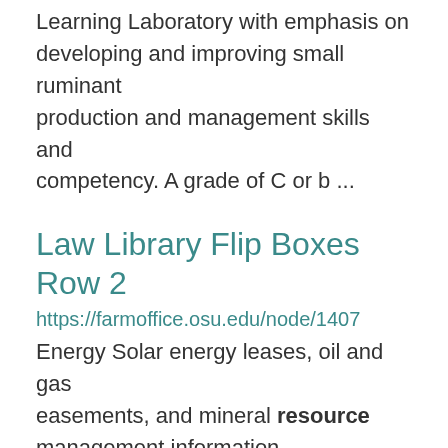Learning Laboratory with emphasis on developing and improving small ruminant production and management skills and competency. A grade of C or b ...
Law Library Flip Boxes Row 2
https://farmoffice.osu.edu/node/1407
Energy Solar energy leases, oil and gas easements, and mineral resource management information. ...
Soil Management
https://ati.osu.edu/courses/soil-management
CRPSOIL 2324T A study of sustainable-use of soil resources related to soil...